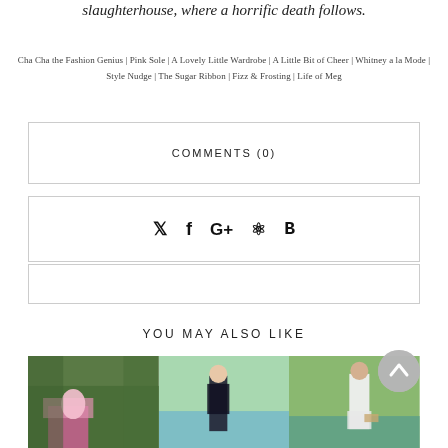slaughterhouse, where a horrific death follows.
Cha Cha the Fashion Genius | Pink Sole | A Lovely Little Wardrobe | A Little Bit of Cheer | Whitney a la Mode | Style Nudge | The Sugar Ribbon | Fizz & Frosting | Life of Meg
COMMENTS (0)
[Figure (other): Social sharing icons: Twitter, Facebook, Google+, Pinterest, Bloglovin]
YOU MAY ALSO LIKE
[Figure (photo): Three lifestyle/fashion photos shown side by side at the bottom of the page]